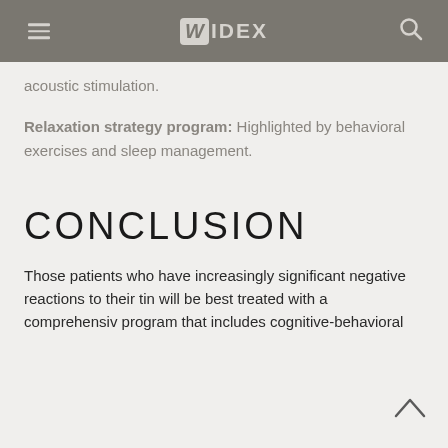WIDEX
acoustic stimulation.
Relaxation strategy program: Highlighted by behavioral exercises and sleep management.
CONCLUSION
Those patients who have increasingly significant negative reactions to their tin will be best treated with a comprehensiv program that includes cognitive-behavioral